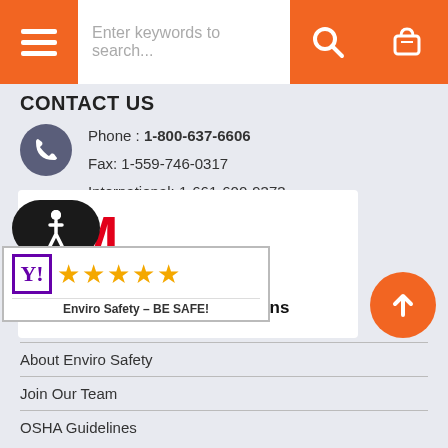Navigation bar with menu, search box, search button, and cart button
CONTACT US
Phone : 1-800-637-6606
Fax: 1-559-746-0317
International: 1-661-600-9373
[Figure (logo): 3M Authorized Distributor Industrial and Safety Solutions logo on white card]
[Figure (logo): Accessibility icon - wheelchair symbol on dark oval background]
[Figure (logo): Enviro Safety - BE SAFE! Yahoo shopping badge with 4.5 stars]
[Figure (other): Orange circular scroll-up arrow button]
About Enviro Safety
Join Our Team
OSHA Guidelines